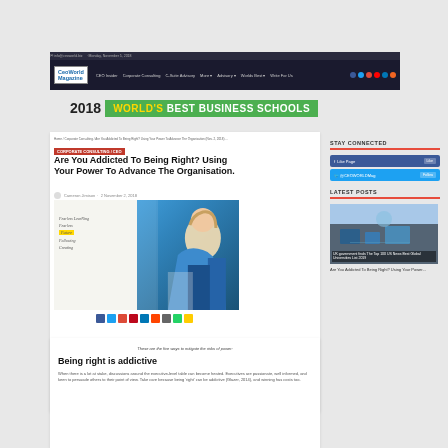CEOWORLD Magazine navigation bar with logo, CEO Insider, Corporate Consulting, C-Suite Advisory, More, Advisory, Worlds Best, Write For Us
[Figure (screenshot): 2018 World's Best Business Schools banner]
Home / Corporate Consulting / Are You Addicted To Being Right? Using Your Power To Advance The Organisation...
CORPORATE CONSULTING / CEO
Are You Addicted To Being Right? Using Your Power To Advance The Organisation.
Cameron Jimison · 2 November 2, 2018
[Figure (photo): Woman with curly blonde hair in blue polka dot dress writing on a whiteboard showing Fearless Leadership concepts]
Social share icons: Facebook, Twitter, Google+, Pinterest, LinkedIn, Reddit, Email, WhatsApp, Yahoo
STAY CONNECTED
Facebook Like button
Twitter Follow button
LATEST POSTS
[Figure (photo): Aerial view of university campus - UK government finds The Top 100 US News Best Global Universities List 2019]
Are You Addicted To Being Right? Using Your Power...
These are the five ways to mitigate the risks of power:
Being right is addictive
When there is a lot at stake, discussions around the executive-level table can become heated. Executives are passionate, well informed, and keen to persuade others to their point of view. Take care because being 'right' can be addictive (Glazer, 2014), and winning has costs too.